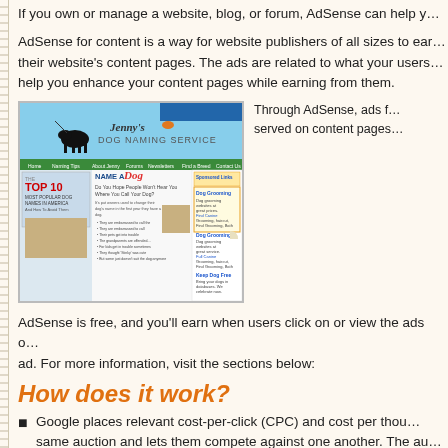If you own or manage a website, blog, or forum, AdSense can help y…
AdSense for content is a way for website publishers of all sizes to earn… their website's content pages. The ads are related to what your users… help you enhance your content pages while earning from them.
[Figure (screenshot): Screenshot of Jenny's Dog Naming Service website showing AdSense ads on the page, including a Dog Grooming ad in the sidebar.]
Through AdSense, ads f… served on content pages…
AdSense is free, and you'll earn when users click on or view the ads… ad. For more information, visit the sections below:
How does it work?
Google places relevant cost-per-click (CPC) and cost per thou… same auction and lets them compete against one another. The au… when it's over our system automatically picks the advertisers who…